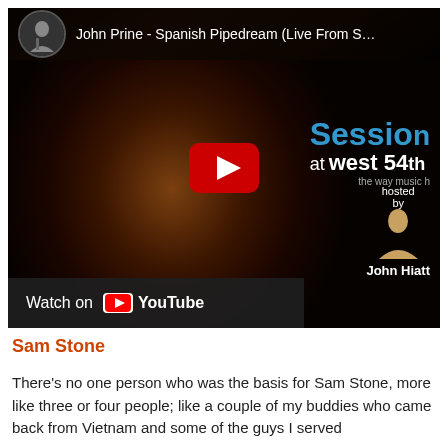[Figure (screenshot): YouTube video thumbnail showing John Prine - Spanish Pipedream (Live From Sessions at West 54th), hosted by John Hiatt. Shows a man singing into a microphone with a red YouTube play button overlay and 'Watch on YouTube' bar at the bottom.]
Sam Stone
There's no one person who was the basis for Sam Stone, more like three or four people; like a couple of my buddies who came back from Vietnam and some of the guys I served